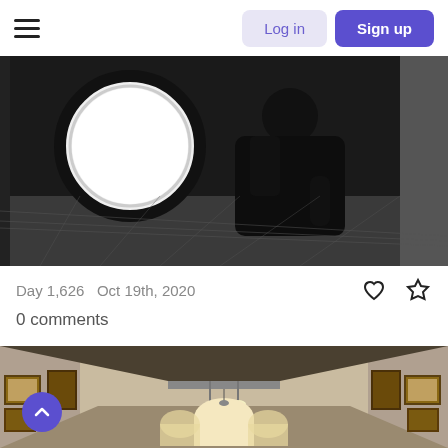Log in  Sign up
[Figure (photo): Black and white photo of a person leaning over, silhouetted against a bright circular window]
Day 1,626  Oct 19th, 2020
0 comments
[Figure (photo): Color photo of a long hallway or gallery with pictures on the walls and pendant lights, viewed in perspective]